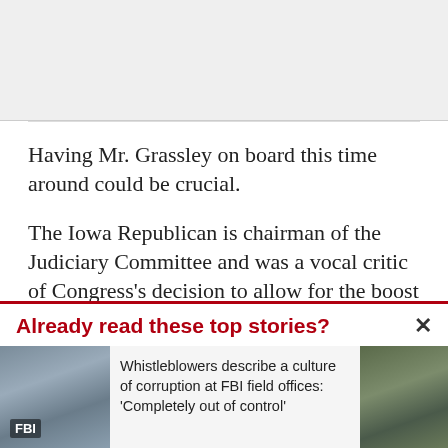[Figure (photo): Gray placeholder box at top of page]
Having Mr. Grassley on board this time around could be crucial.
The Iowa Republican is chairman of the Judiciary Committee and was a vocal critic of Congress's decision to allow for the boost in visas the last two years. In letters to
Already read these top stories?
[Figure (photo): FBI field office building exterior photo]
Whistleblowers describe a culture of corruption at FBI field offices: 'Completely out of control'
[Figure (photo): Partially visible second story image on right]